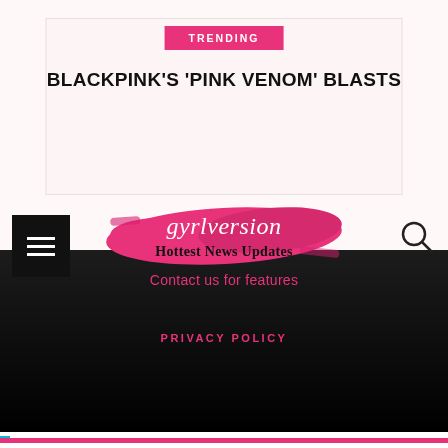TRENDING
BLACKPINK'S ‘PINK VENOM’ BLASTS
[Figure (logo): Gyrlversion Hottest News Updates logo — pink brushstroke background with italic script 'gyrlversion' in white and bold 'Hottest News Updates' in black beneath]
Contact us for features
PRIVACY POLICY